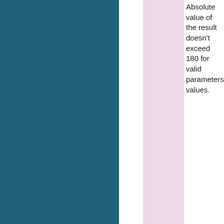Absolute value of the result doesn't exceed 180 for valid parameters values.
openquake.hazardlib.geo.uti... lat1, lon2, lat2) [source]
Given two points return the point exactly in the middle lying on the same great circle arc.
Parameters are point coordinates in degrees.